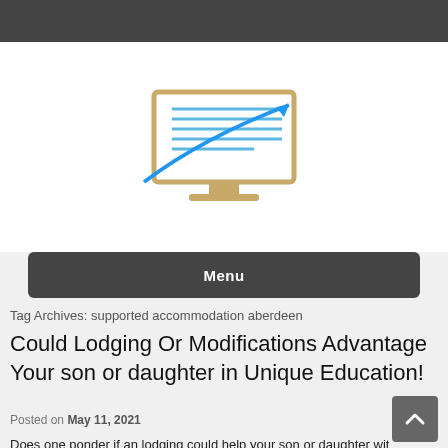[Figure (logo): Logo of a website showing a monitor/screen icon with blue upward arrow and document lines, in gold/tan and blue colors]
Menu
Tag Archives: supported accommodation aberdeen
Could Lodging Or Modifications Advantage Your son or daughter in Unique Education!
Posted on May 11, 2021
Does one ponder if an lodging could help your son or daughter with